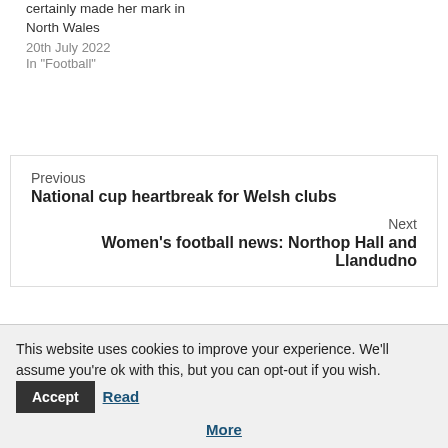certainly made her mark in North Wales
20th July 2022
In "Football"
Previous
National cup heartbreak for Welsh clubs
Next
Women's football news: Northop Hall and Llandudno
More Stories
This website uses cookies to improve your experience. We'll assume you're ok with this, but you can opt-out if you wish. Accept Read More